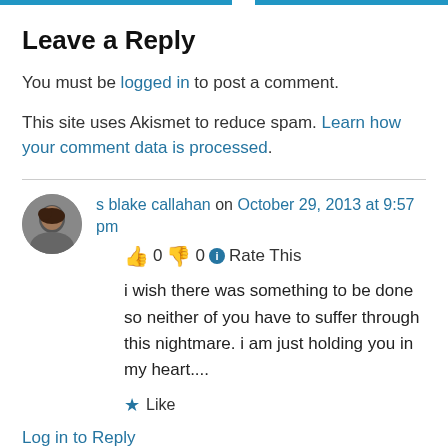Leave a Reply
You must be logged in to post a comment.
This site uses Akismet to reduce spam. Learn how your comment data is processed.
s blake callahan on October 29, 2013 at 9:57 pm
👍 0 👎 0 ℹ Rate This
i wish there was something to be done so neither of you have to suffer through this nightmare. i am just holding you in my heart....
★ Like
Log in to Reply